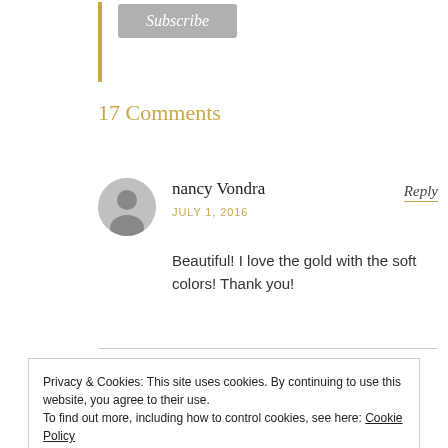[Figure (other): Subscribe button with gold vertical bar on the left]
17 Comments
nancy Vondra
JULY 1, 2016
Reply
Beautiful! I love the gold with the soft colors! Thank you!
Privacy & Cookies: This site uses cookies. By continuing to use this website, you agree to their use.
To find out more, including how to control cookies, see here: Cookie Policy
Close and accept